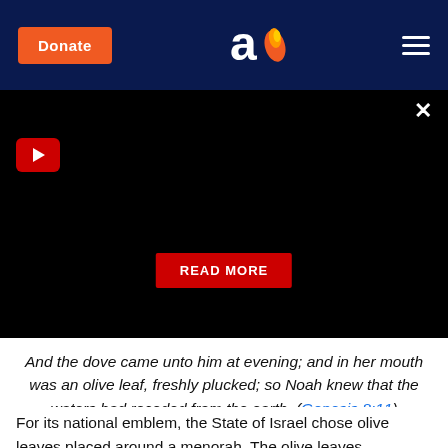Donate | [logo] | [menu]
[Figure (screenshot): Black video player area with red play button, X close button, and red READ MORE button]
And the dove came unto him at evening; and in her mouth was an olive leaf, freshly plucked; so Noah knew that the waters had receded from the earth. (Genesis 8:11)
For its national emblem, the State of Israel chose olive leaves placed around a menorah. The olive leaves symbolize peace (שָׁלוֹם - shalom), as this is our wish. Also, the symbol of the Israel Defense Forces (IDF, צְבָא הַגָּנָה לְיִשְׂרָאֵל – צה"ל) shows a sword wrapped by an olive